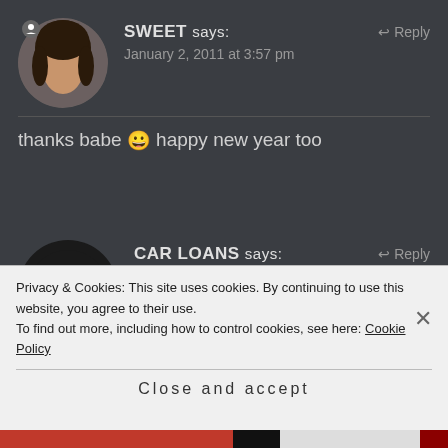SWEET says:  Reply
January 2, 2011 at 3:57 pm
thanks babe 😀 happy new year too
CAR LOANS says:  Reply
January 6, 2011 at 6:21 am
I would like to change links having your
Privacy & Cookies: This site uses cookies. By continuing to use this website, you agree to their use.
To find out more, including how to control cookies, see here: Cookie Policy
Close and accept